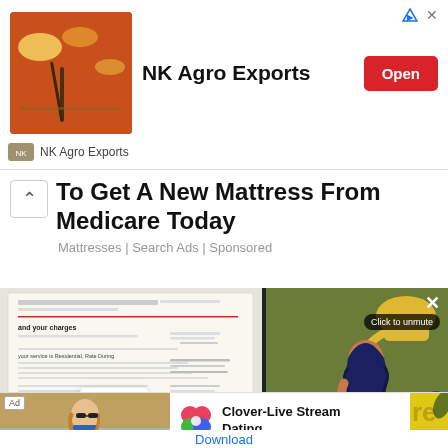[Figure (screenshot): NK Agro Exports advertisement banner with food spices image on left, bold title 'NK Agro Exports' in center, red 'Open' button on right, and advertiser name 'NK Agro Exports' below]
[Figure (screenshot): Ad for mattress from Medicare with chevron up icon and bold title 'To Get A New Mattress From Medicare Today' and subtitle 'Mattresses | Search Ads | Sponsored']
[Figure (screenshot): Blurred utility bill document image on left half, animated cartoon woman watering plants on green background on right half with 'Click to unmute' overlay button and X close button]
[Figure (screenshot): Bottom ad row: woman on beach photo with 'Ad' label on left, Clover-Live Stream Dating app ad with clover heart icon and 'Download' link on right, yellow strip on far right]